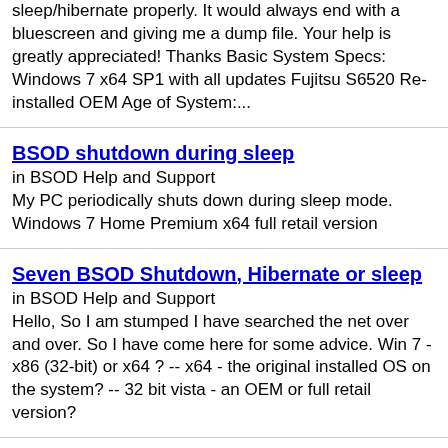sleep/hibernate properly. It would always end with a bluescreen and giving me a dump file. Your help is greatly appreciated! Thanks Basic System Specs: Windows 7 x64 SP1 with all updates Fujitsu S6520 Re-installed OEM Age of System:...
BSOD shutdown during sleep
in BSOD Help and Support
My PC periodically shuts down during sleep mode. Windows 7 Home Premium x64 full retail version
Seven BSOD Shutdown, Hibernate or sleep
in BSOD Help and Support
Hello, So I am stumped I have searched the net over and over. So I have come here for some advice. Win 7 - x86 (32-bit) or x64 ? -- x64 - the original installed OS on the system? -- 32 bit vista - an OEM or full retail version?
BSOD on shutdown, restart, and sleep.
in BSOD Help and Support
Ok so I just finished installing Windows 7 and I am